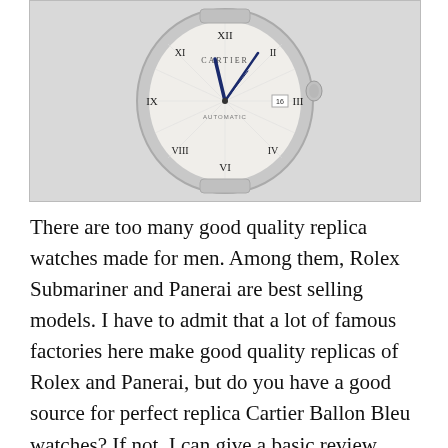[Figure (photo): Photograph of a Cartier Ballon Bleu watch with a round white dial showing Roman numerals, blue hands, and a silver case, photographed against a light grey background.]
There are too many good quality replica watches made for men. Among them, Rolex Submariner and Panerai are best selling models. I have to admit that a lot of famous factories here make good quality replicas of Rolex and Panerai, but do you have a good source for perfect replica Cartier Ballon Bleu watches? If not, I can give a basic review here on how to find a good quality one. You know,